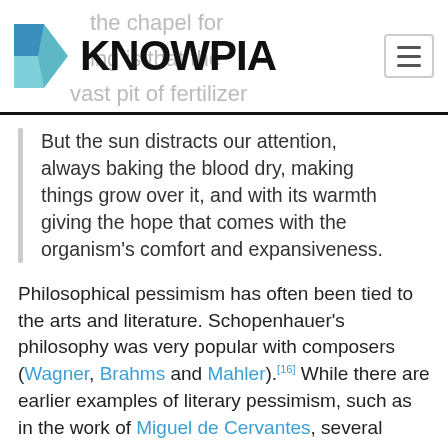KNOWPIA
But the sun distracts our attention, always baking the blood dry, making things grow over it, and with its warmth giving the hope that comes with the organism's comfort and expansiveness.
Philosophical pessimism has often been tied to the arts and literature. Schopenhauer's philosophy was very popular with composers (Wagner, Brahms and Mahler).[16] While there are earlier examples of literary pessimism, such as in the work of Miguel de Cervantes, several philosophical pessimists also wrote novels or poetry (Camus and Leopardi respectively). A distinctive literary form which has been associated with pessimism is aphoristic writing, and this can be seen